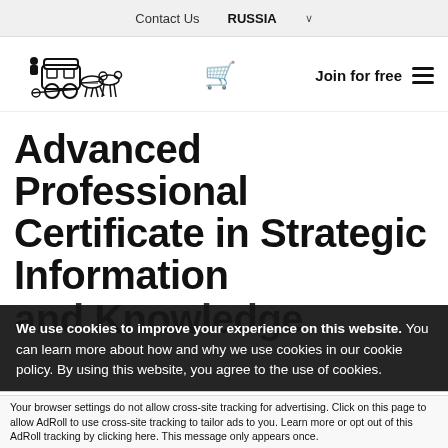Contact Us   RUSSIA ˅
[Figure (logo): Horse-drawn carriage logo (GLOMACS or similar education provider)]
Advanced Professional Certificate in Strategic Information and Knowledge
We use cookies to improve your experience on this website. You can learn more about how and why we use cookies in our cookie policy. By using this website, you agree to the use of cookies.
Accept and Close ✕
Your browser settings do not allow cross-site tracking for advertising. Click on this page to allow AdRoll to use cross-site tracking to tailor ads to you. Learn more or opt out of this AdRoll tracking by clicking here. This message only appears once.